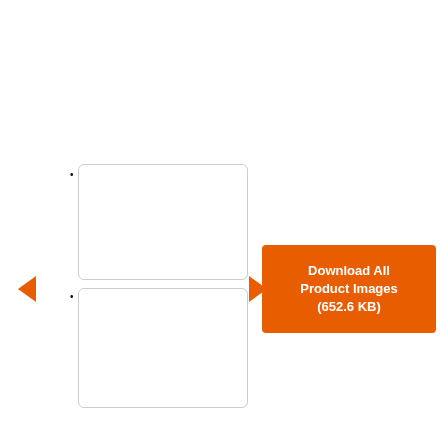[Figure (screenshot): Two blank thumbnail image placeholders with bullet points, left/right orange navigation arrows, and an orange 'Download All Product Images (652.6 KB)' button on the right.]
[Figure (logo): YouTube play button icon (red rectangle with white triangle) at the bottom center, with orange left and right navigation arrows.]